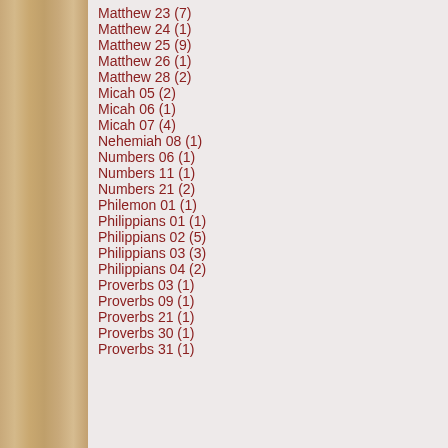Matthew 23 (7)
Matthew 24 (1)
Matthew 25 (9)
Matthew 26 (1)
Matthew 28 (2)
Micah 05 (2)
Micah 06 (1)
Micah 07 (4)
Nehemiah 08 (1)
Numbers 06 (1)
Numbers 11 (1)
Numbers 21 (2)
Philemon 01 (1)
Philippians 01 (1)
Philippians 02 (5)
Philippians 03 (3)
Philippians 04 (2)
Proverbs 03 (1)
Proverbs 09 (1)
Proverbs 21 (1)
Proverbs 30 (1)
Proverbs 31 (1)